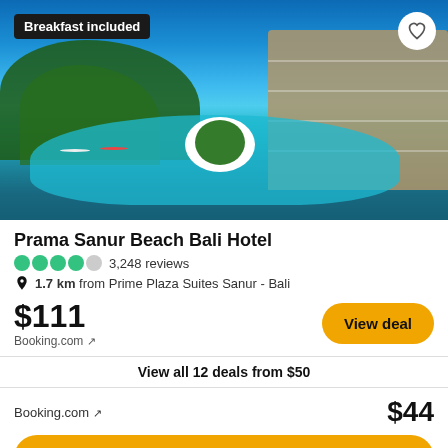[Figure (photo): Aerial/ground view of Prama Sanur Beach Bali Hotel with large turquoise swimming pool, palm trees, tropical gardens, and hotel building in background under blue sky. Breakfast included badge in top left, heart/favorite button in top right.]
Prama Sanur Beach Bali Hotel
3,248 reviews
1.7 km from Prime Plaza Suites Sanur - Bali
$111
Booking.com ↗
View deal
View all 12 deals from $50
Booking.com ↗
$44
View deal